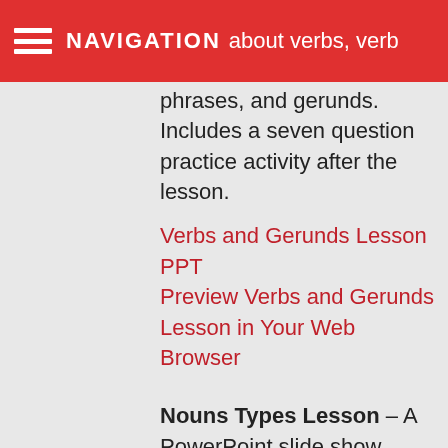NAVIGATION about verbs, verb phrases, and gerunds.
about verbs, verb phrases, and gerunds. Includes a seven question practice activity after the lesson.
Verbs and Gerunds Lesson PPT Preview Verbs and Gerunds Lesson in Your Web Browser
Nouns Types Lesson – A PowerPoint slide show lesson explaining the difference between noun types: common, proper, singular, plural, possessive, concrete, and abstract. Also includes ten practice problems after the lesson.
Noun Types Lesson PowerPoint